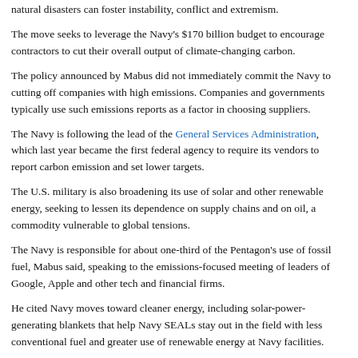natural disasters can foster instability, conflict and extremism.
The move seeks to leverage the Navy's $170 billion budget to encourage contractors to cut their overall output of climate-changing carbon.
The policy announced by Mabus did not immediately commit the Navy to cutting off companies with high emissions. Companies and governments typically use such emissions reports as a factor in choosing suppliers.
The Navy is following the lead of the General Services Administration, which last year became the first federal agency to require its vendors to report carbon emission and set lower targets.
The U.S. military is also broadening its use of solar and other renewable energy, seeking to lessen its dependence on supply chains and on oil, a commodity vulnerable to global tensions.
The Navy is responsible for about one-third of the Pentagon's use of fossil fuel, Mabus said, speaking to the emissions-focused meeting of leaders of Google, Apple and other tech and financial firms.
He cited Navy moves toward cleaner energy, including solar-power-generating blankets that help Navy SEALs stay out in the field with less conventional fuel and greater use of renewable energy at Navy facilities.